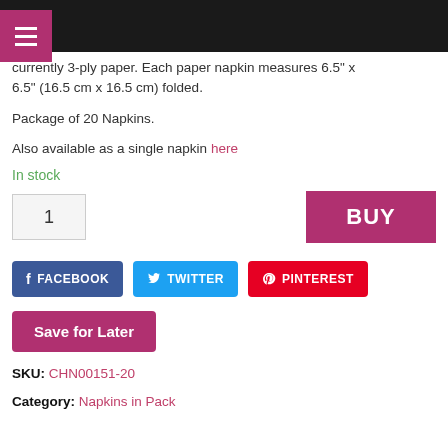Navigation header with hamburger menu
currently 3-ply paper. Each paper napkin measures 6.5" x 6.5" (16.5 cm x 16.5 cm) folded.
Package of 20 Napkins.
Also available as a single napkin here
In stock
1
BUY
FACEBOOK  TWITTER  PINTEREST
Save for Later
SKU: CHN00151-20
Category: Napkins in Pack